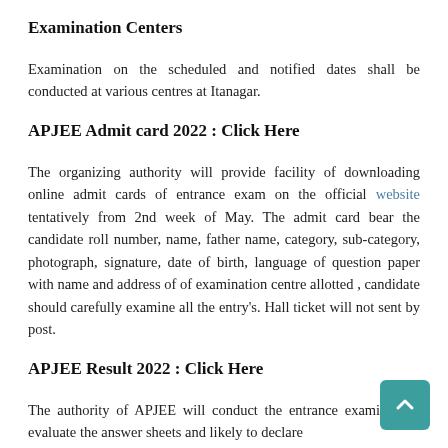Examination Centers
Examination on the scheduled and notified dates shall be conducted at various centres at Itanagar.
APJEE Admit card 2022 : Click Here
The organizing authority will provide facility of downloading online admit cards of entrance exam on the official website tentatively from 2nd week of May. The admit card bear the candidate roll number, name, father name, category, sub-category, photograph, signature, date of birth, language of question paper with name and address of of examination centre allotted , candidate should carefully examine all the entry's. Hall ticket will not sent by post.
APJEE Result 2022 : Click Here
The authority of APJEE will conduct the entrance examination, evaluate the answer sheets and likely to declare